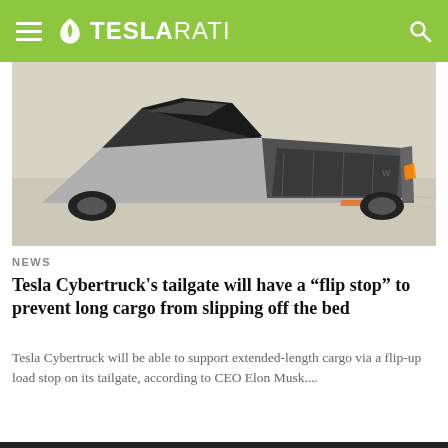TESLARATI
F-150. But...
[Figure (photo): Rear view of Tesla Cybertruck in a desert/sandy environment, showing angular stainless steel design with open truck bed and orange rear lights]
NEWS
Tesla Cybertruck's tailgate will have a “flip stop” to prevent long cargo from slipping off the bed
Tesla Cybertruck will be able to support extended-length cargo via a flip-up load stop on its tailgate, according to CEO Elon Musk....